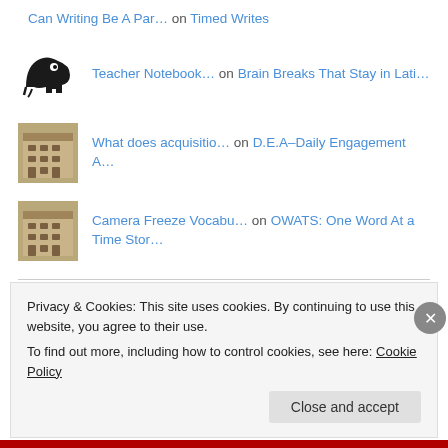Can Writing Be A Par… on Timed Writes
Teacher Notebook… on Brain Breaks That Stay in Lati…
What does acquisitio… on D.E.A–Daily Engagement A…
Camera Freeze Vocabu… on OWATS: One Word At a Time Stor…
Archives
Privacy & Cookies: This site uses cookies. By continuing to use this website, you agree to their use.
To find out more, including how to control cookies, see here: Cookie Policy
Close and accept